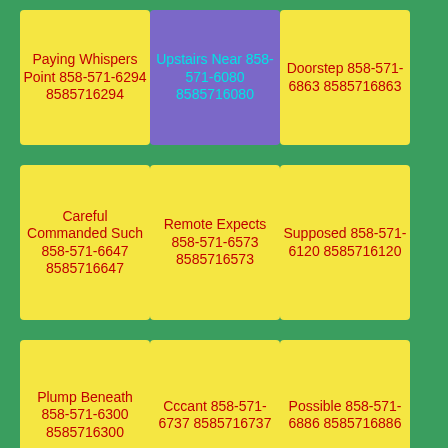Paying Whispers Point 858-571-6294 8585716294
Upstairs Near 858-571-6080 8585716080
Doorstep 858-571-6863 8585716863
Careful Commanded Such 858-571-6647 8585716647
Remote Expects 858-571-6573 8585716573
Supposed 858-571-6120 8585716120
Plump Beneath 858-571-6300 8585716300
Cccant 858-571-6737 8585716737
Possible 858-571-6886 8585716886
Wizarding Sposed 858-571-
Shaped 858-571-
Nearly 858-